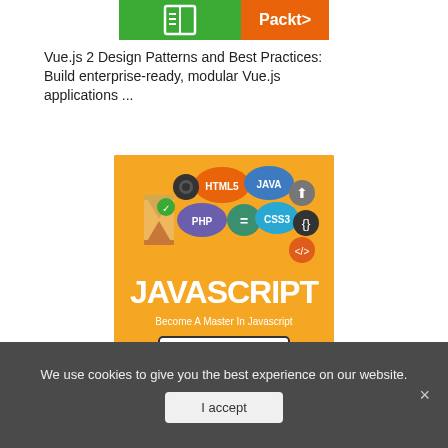[Figure (illustration): Top strip of a book cover showing green background with book icon and orange Packt publisher logo/name]
Vue.js 2 Design Patterns and Best Practices: Build enterprise-ready, modular Vue.js applications ...
[Figure (illustration): JavaScript book cover with orange background, technology icons (HTML5, JAVA, PHP, CSS3), large JAVASCRIPT title text, subtitle 'Become A Master In Javascript', and a monitor displaying JAVA]
We use cookies to give you the best experience on our website.
I accept